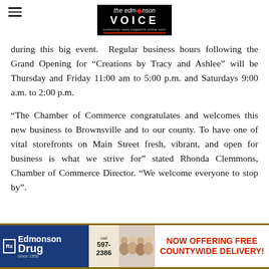the Edmonson VOICE
during this big event.  Regular business hours following the Grand Opening for “Creations by Tracy and Ashlee” will be Thursday and Friday 11:00 am to 5:00 p.m. and Saturdays 9:00 a.m. to 2:00 p.m.
“The Chamber of Commerce congratulates and welcomes this new business to Brownsville and to our county. To have one of vital storefronts on Main Street fresh, vibrant, and open for business is what we strive for” stated Rhonda Clemmons, Chamber of Commerce Director. “We welcome everyone to stop by”.
[Figure (other): Edmonson Drug advertisement banner with blue left panel showing Rx Edmonson Drug logo and phone number 597-2386, middle panel with group photo of people, and right panel with red text reading NOW OFFERING FREE COUNTYWIDE DELIVERY!]